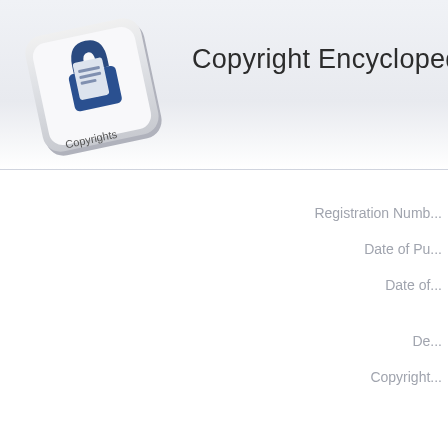[Figure (logo): Copyright Encyclopedia logo: a keyboard key with a padlock and document icon, labeled 'Copyrights']
Copyright Encyclopedia
Registration Numb...
Date of Pu...
Date of...
De...
Copyright...
Type...
Registration M...